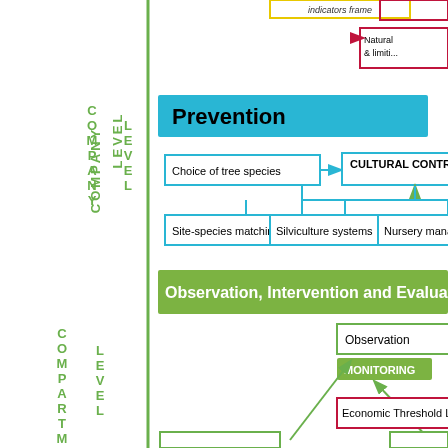[Figure (flowchart): Partial flowchart showing forest pest management framework with two sections: 'Prevention' (blue, Company Level) containing Cultural Control node with Choice of tree species, Site-species matching, Silviculture systems, Nursery management; and 'Observation, Intervention and Evaluation' (green, Compartment Level) containing Observation, Monitoring, Economic Threshold Level nodes with arrows and connections. Left side has vertical text labels 'COMPANY LEVEL' and 'COMPARTMENT LEVEL' in green. Right side has partial boxes including Natural & limiting factors (crimson). Yellow dashed arrow and pink solid arrows also shown.]